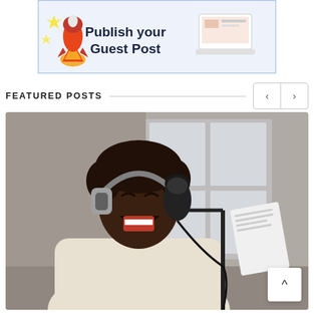[Figure (illustration): Banner advertisement with rocket/megaphone illustration on the left and bold text 'Publish your Guest Post' on a light blue background with blue border]
FEATURED POSTS
[Figure (photo): Photo of a young Black man wearing headphones and singing enthusiastically into a studio microphone, holding papers, photographed in a studio environment with grey background]